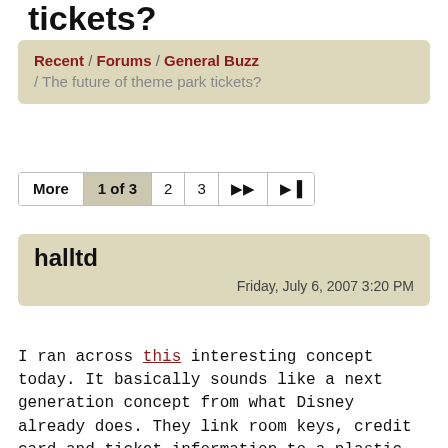tickets?
Recent / Forums / General Buzz / The future of theme park tickets?
More  1 of 3  2  3
halltd
Friday, July 6, 2007 3:20 PM
I ran across this interesting concept today. It basically sounds like a next generation concept from what Disney already does. They link room keys, credit card and ticket information to a plastic card already.
But, using RFID and GPS technology could be really cool. Like the blog says, you could put the park map on here, have your own "turn by turn guidance" to each attraction, link it to